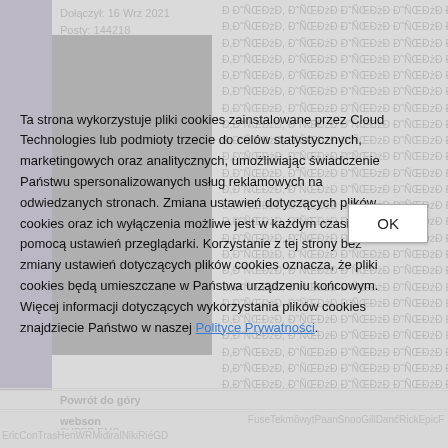Dołączył: 16 Wrz 2021
Posty: 144218
Ð Ð˜ÑŒÐżÐ Ð˜ÑŒÐżÐ Ð˜ÑŒÐżÐ Ð˜ÑŒÐżÐ Ð˜ÑŒÐ (corrupted text block - repeated lines)
Powrót do góry
webson
SUPER EMC
Ta strona wykorzystuje pliki cookies zainstalowane przez Cloud Technologies lub podmioty trzecie do celów statystycznych, marketingowych oraz analitycznych, umożliwiając świadczenie Państwu spersonalizowanych usług reklamowych na odwiedzanych stronach. Zmiana ustawień dotyczących plików cookies oraz ich wyłączenia możliwe jest w każdym czasie za pomocą ustawień przeglądarki. Korzystanie z tej strony bez zmiany ustawień dotyczących plików cookies oznacza, że pliki cookies będą umieszczane w Państwa urządzeniu końcowym. Więcej informacji dotyczących wykorzystania plików cookies znajdziecie Państwo w naszej Polityce Prywatności.
OK